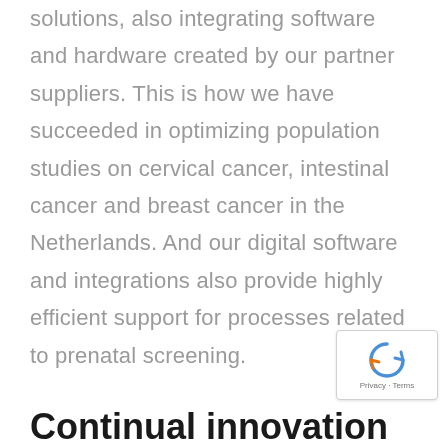solutions, also integrating software and hardware created by our partner suppliers. This is how we have succeeded in optimizing population studies on cervical cancer, intestinal cancer and breast cancer in the Netherlands. And our digital software and integrations also provide highly efficient support for processes related to prenatal screening.
Continual innovation